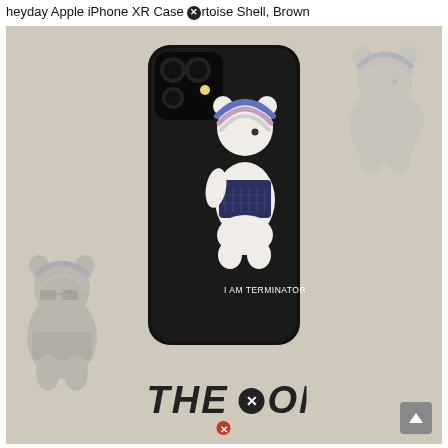heyday Apple iPhone XR Case ⊗rtoise Shell, Brown
[Figure (photo): Product photo of a black iPhone XR phone case featuring a cartoon panda bear character wearing a striped hat and dark jacket with text 'I AM TERMINATOR' on a beige/tan background with ghost outline versions of the bear character in corners, and 'THE ONE' logo at the bottom.]